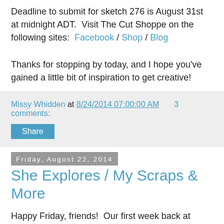Deadline to submit for sketch 276 is August 31st at midnight ADT.  Visit The Cut Shoppe on the following sites:  Facebook / Shop / Blog
Thanks for stopping by today, and I hope you've gained a little bit of inspiration to get creative!
Missy Whidden at 8/24/2014 07:00:00 AM    3 comments:
Share
Friday, August 22, 2014
She Explores / My Scraps & More
Happy Friday, friends!  Our first week back at school is over, and my girls really enjoyed it!  Thank goodness tomorrow is Saturday and we can sleep in a bit.  This week has been crazy trying to get used to getting up early again.  All in all, it has been a great week, though :)
Have you seen the latest sketch on the My Scraps Sketch